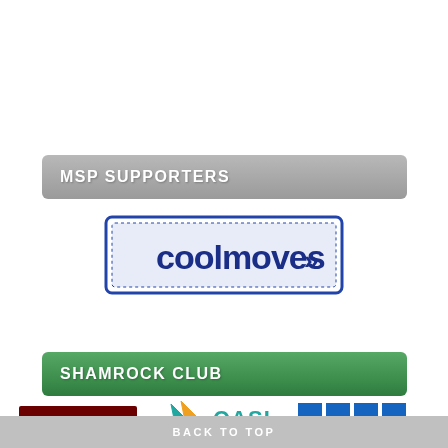MSP SUPPORTERS
[Figure (logo): coolmoves logo — blue text 'coolmoves' with arrow, bordered rectangle]
SHAMROCK CLUB
[Figure (logo): Bethunes Real Estate Agents Auctioneers logo — dark red/maroon rectangle with white text]
[Figure (logo): QASL Quantum Accounting Software Limited logo — teal star/arrow shape with orange and teal text]
[Figure (logo): KPMG logo — blue square grid marks with KPMG text]
BACK TO TOP